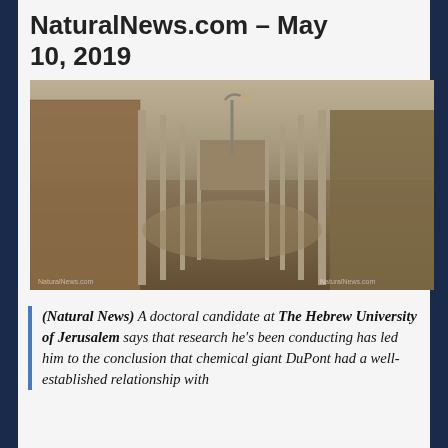NaturalNews.com – May 10, 2019
[Figure (photo): Sepia-toned photograph of a concentration camp corridor with barbed wire fences on both sides, brick buildings, and a gravel path leading to a gatehouse in the background.]
(Natural News) A doctoral candidate at The Hebrew University of Jerusalem says that research he's been conducting has led him to the conclusion that chemical giant DuPont had a well-established relationship with